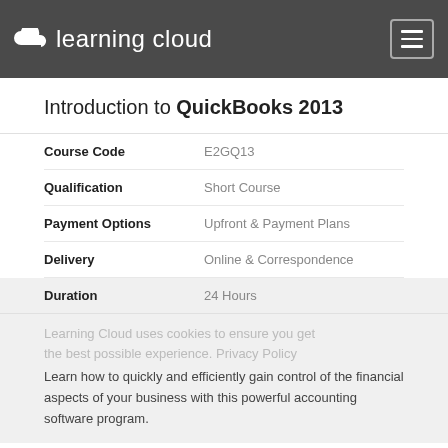learning cloud
Introduction to QuickBooks 2013
| Field | Value |
| --- | --- |
| Course Code | E2GQ13 |
| Qualification | Short Course |
| Payment Options | Upfront & Payment Plans |
| Delivery | Online & Correspondence |
| Duration | 24 Hours |
Learning Cloud uses cookies to ensure you get the best possible experience. Privacy Policy
Learn how to quickly and efficiently gain control of the financial aspects of your business with this powerful accounting software program.